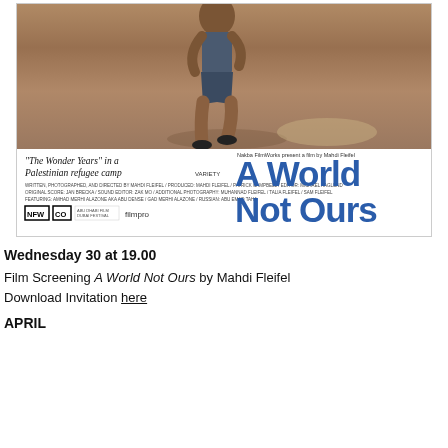[Figure (photo): Film poster for 'A World Not Ours' by Mahdi Fleifel. Top portion shows a child running across a dirt/gravel surface. Bottom portion shows the poster text including tagline 'The Wonder Years in a Palestinian refugee camp' (Variety), credits, production logos (NFW, CO, Abu Dhabi Film Festival, filmpro), and the large blue title 'A World Not Ours' on the right side. Nakba FilmWorks present a film by Mahdi Fleifel.]
Wednesday 30 at 19.00
Film Screening A World Not Ours by Mahdi Fleifel
Download Invitation here
APRIL